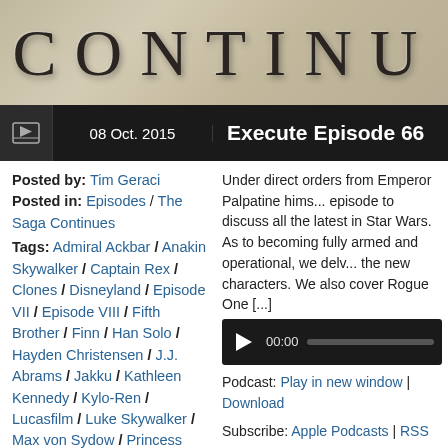[Figure (photo): Stone/marble textured banner with large serif letters spelling CONTINU (partially visible)]
08 Oct. 2015  Execute Episode 66
Posted by: Tim Geraci
Posted in: Episodes / The Saga Continues
Tags: Admiral Ackbar / Anakin Skywalker / Captain Rex / Clones / Disneyland / Episode VII / Episode VIII / Fifth Brother / Finn / Han Solo / Hayden Christensen / J.J. Abrams / Jakku / Kathleen Kennedy / Kylo-Ren / Lucasfilm / Luke Skywalker / Max von Sydow / Princess Leia / Rey / Rian Johnson / Rogue One /
Under direct orders from Emperor Palpatine hims... episode to discuss all the latest in Star Wars. As to becoming fully armed and operational, we delv... the new characters. We also cover Rogue One [...]
[Figure (other): Audio player with play button, 00:00 timestamp, and progress bar]
Podcast: Play in new window | Download
Subscribe: Apple Podcasts | RSS
Read more